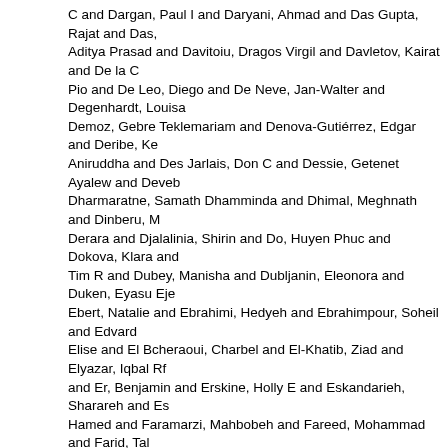C and Dargan, Paul I and Daryani, Ahmad and Das Gupta, Rajat and Das, Aditya Prasad and Davitoiu, Dragos Virgil and Davletov, Kairat and De la C Pio and De Leo, Diego and De Neve, Jan-Walter and Degenhardt, Louisa Demoz, Gebre Teklemariam and Denova-Gutiérrez, Edgar and Deribe, Ke Aniruddha and Des Jarlais, Don C and Dessie, Getenet Ayalew and Deveb Dharmaratne, Samath Dhamminda and Dhimal, Meghnath and Dinberu, M Derara and Djalalinia, Shirin and Do, Huyen Phuc and Dokova, Klara and Tim R and Dubey, Manisha and Dubljanin, Eleonora and Duken, Eyasu Eje Ebert, Natalie and Ebrahimi, Hedyeh and Ebrahimpour, Soheil and Edvard Elise and El Bcheraoui, Charbel and El-Khatib, Ziad and Elyazar, Iqbal Rf and Er, Benjamin and Erskine, Holly E and Eskandarieh, Sharareh and Es Hamed and Faramarzi, Mahbobeh and Fareed, Mohammad and Farid, Tal Andrea and Faro, Andre and Farvid, Maryam S and Farzaei, Mohammad H Fazaeli, Ali Akbar and Feigin, Valery L and Feigl, Andrea B and Fereshtehr and Fernandes, Joao C and Ferrara, Giannina and Ferrari, Alize J and Fer David and Fischer, Florian and Foigt, Nataliya A and Foreman, Kyle J and Thomas and Furtado, João M and Futran, Neal D and Gall, Seana and Ga Morsaleh and Garcia-Basteiro, Alberto L and Gardner, William M and Gebr and Gebremichael, Teklu Gebrehiwo and Gelano, Tilayie Feto and Geleijnd Gething, Peter W and Gezae, Kebede Embaye and Ghadimi, Reza and Gh and Ghasemi-Kasman, Maryam and Ghimire, Mamata and Ghosh, Rakesh and Gill, Paramjit Singh and Gill, Tiffany K and Gillum, Richard F and Gina and Gnedovskaya, Elena V and Godwin, William W and Goli, Srinivas and Gopalani, Sameer Vali and Goulart, Alessandra C and Grada, Ayman and Gugnani, Harish Chander and Guo, Yuming and Gupta, Rahul and Gupta, Alma and Gutiérrez-Torres, Daniela S and Haagsma, Juanita A and Habte Hafezi-Nejad, Nima and Hagos, Tekleberhan B and Hailegiyorgis, Tewodr Mirzaian, Arvin and Haj-Mirzaian, Arya and Hamadeh, Randah R and Ham Graeme J and Hao, Yuantao and Harb, Hilda L and Harikrishnan, Sivadasa Hadi and Hassen, Hamid Yimam and Havmoeller, Rasmus and Hawley, C